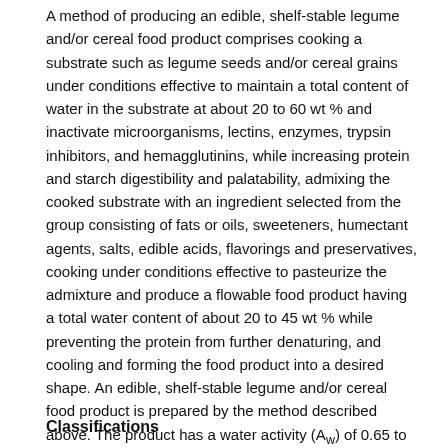A method of producing an edible, shelf-stable legume and/or cereal food product comprises cooking a substrate such as legume seeds and/or cereal grains under conditions effective to maintain a total content of water in the substrate at about 20 to 60 wt % and inactivate microorganisms, lectins, enzymes, trypsin inhibitors, and hemagglutinins, while increasing protein and starch digestibility and palatability, admixing the cooked substrate with an ingredient selected from the group consisting of fats or oils, sweeteners, humectant agents, salts, edible acids, flavorings and preservatives, cooking under conditions effective to pasteurize the admixture and produce a flowable food product having a total water content of about 20 to 45 wt % while preventing the protein from further denaturing, and cooling and forming the food product into a desired shape. An edible, shelf-stable legume and/or cereal food product is prepared by the method described above. The product has a water activity (Aw) of 0.65 to 0.87, pH of 4.0 to 6.0 and a moisture content of 20 to 45 wt %.
Classifications